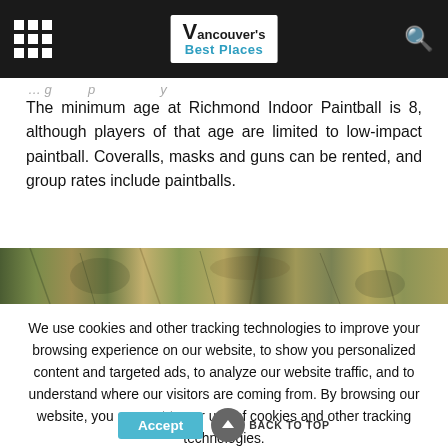Vancouver's Best Places - navigation bar
[partial text line — truncated at top]
The minimum age at Richmond Indoor Paintball is 8, although players of that age are limited to low-impact paintball. Coveralls, masks and guns can be rented, and group rates include paintballs.
[Figure (photo): Nature/outdoor camouflage-style photo strip, showing foliage, grass, and natural textures in browns and greens.]
We use cookies and other tracking technologies to improve your browsing experience on our website, to show you personalized content and targeted ads, to analyze our website traffic, and to understand where our visitors are coming from. By browsing our website, you consent to our use of cookies and other tracking technologies.
Accept
BACK TO TOP